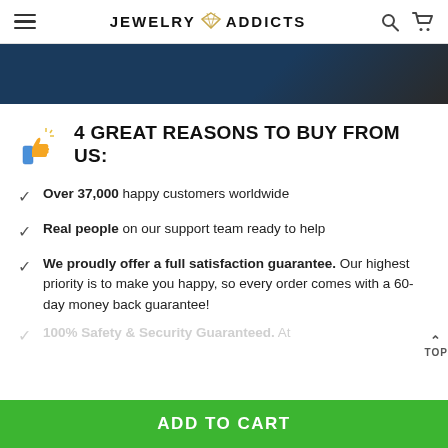JEWELRY ADDICTS
[Figure (screenshot): Dark blue and black banner image at top of page]
4 GREAT REASONS TO BUY FROM US:
Over 37,000 happy customers worldwide
Real people on our support team ready to help
We proudly offer a full satisfaction guarantee. Our highest priority is to make you happy, so every order comes with a 60-day money back guarantee!
100% Safety & Security Guaranteed. At
ADD TO CART